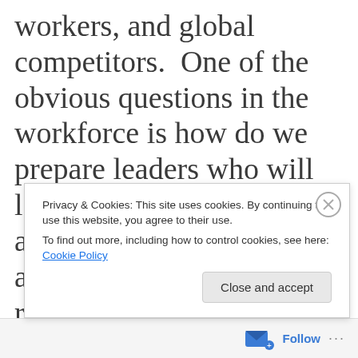workers, and global competitors. One of the obvious questions in the workforce is how do we prepare leaders who will lead multi-generational and diverse workforces in a very digital age, in a range of industries, to meet current and future consumer and
Privacy & Cookies: This site uses cookies. By continuing to use this website, you agree to their use.
To find out more, including how to control cookies, see here: Cookie Policy
Close and accept
Follow ···